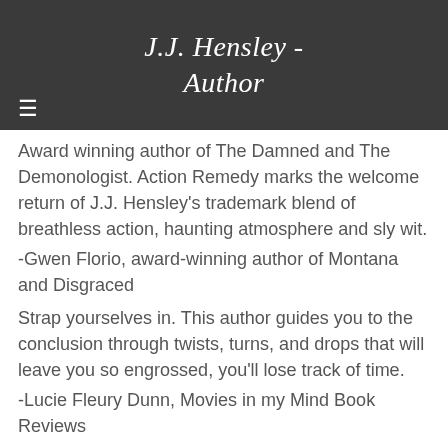J.J. Hensley - Author
Award winning author of The Damned and The Demonologist. Action Remedy marks the welcome return of J.J. Hensley's trademark blend of breathless action, haunting atmosphere and sly wit.
-Gwen Florio, award-winning author of Montana and Disgraced
Strap yourselves in. This author guides you to the conclusion through twists, turns, and drops that will leave you so engrossed, you'll lose track of time.
-Lucie Fleury Dunn, Movies in my Mind Book Reviews
MEASURE TWICE